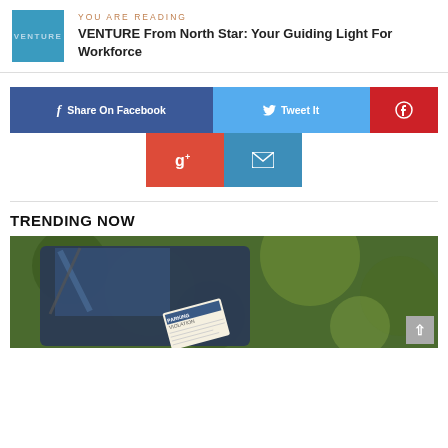YOU ARE READING — VENTURE From North Star: Your Guiding Light For Workforce
[Figure (logo): VENTURE logo — teal/blue square with 'VENTURE' text]
[Figure (infographic): Social share buttons: Share On Facebook, Tweet It, Pinterest, Google+, Email]
TRENDING NOW
[Figure (photo): Photo of a car windshield with a parking violation ticket, green bokeh background]